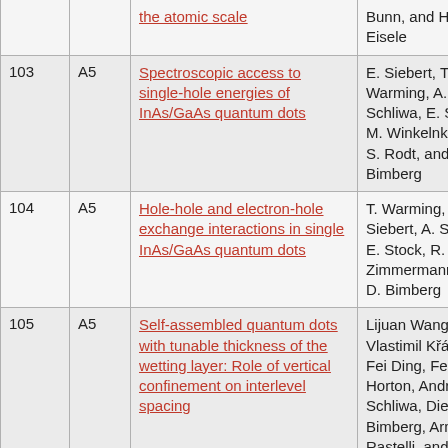| # | Type | Title | Authors |  |
| --- | --- | --- | --- | --- |
|  |  | the atomic scale | Bunn, and H. Eisele |  |
| 103 | A5 | Spectroscopic access to single-hole energies of InAs/GaAs quantum dots | E. Siebert, T. Warming, A. Schliwa, E. Stock, M. Winkelnkemper, S. Rodt, and D. Bimberg | P 2 |
| 104 | A5 | Hole-hole and electron-hole exchange interactions in single InAs/GaAs quantum dots | T. Warming, E. Siebert, A. Schliwa, E. Stock, R. Zimmermann, and D. Bimberg | P 1 |
| 105 | A5 | Self-assembled quantum dots with tunable thickness of the wetting layer: Role of vertical confinement on interlevel spacing | Lijuan Wang, Vlastimil Křápek, Fei Ding, Felicity Horton, Andrei Schliwa, Dieter Bimberg, Armando Rastelli, and Oliver G. | P 8 (2 |